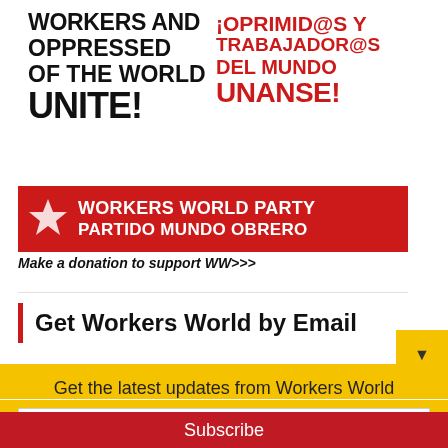[Figure (photo): A protest sign reading 'Workers and Oppressed of the World Unite!' in black text and '¡Oprimid@s y Trabajador@s del Mundo Unanse!' in red text, with a red banner at the bottom saying 'Workers World Party / Partido Mundo Obrero' with a star graphic.]
Make a donation to support WW>>>
Get Workers World by Email
Get the latest updates from Workers World
Email address
Subscribe